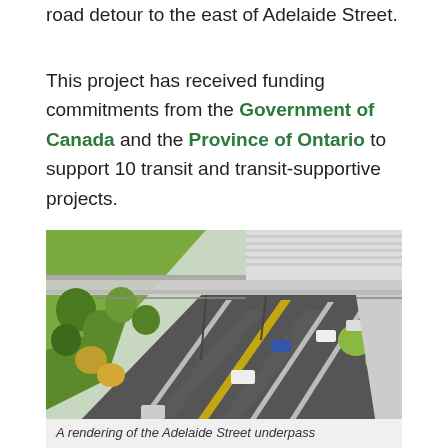during most of the construction period through a road detour to the east of Adelaide Street.
This project has received funding commitments from the Government of Canada and the Province of Ontario to support 10 transit and transit-supportive projects.
[Figure (illustration): A rendered aerial perspective of the Adelaide Street underpass showing a multi-lane road passing under a bridge/overpass structure, with landscaping including trees and shrubs on either side, vehicles on the road, and pedestrian paths.]
A rendering of the Adelaide Street underpass